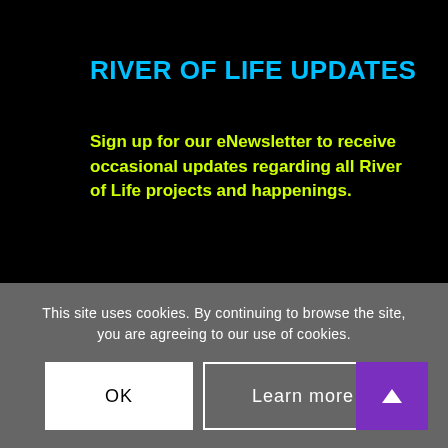RIVER OF LIFE UPDATES
Sign up for our eNewsletter to receive occasional updates regarding all River of Life projects and happenings.
First name
Last name
This site uses cookies. By continuing to browse the site, you are agreeing to our use of cookies.
OK
Learn more